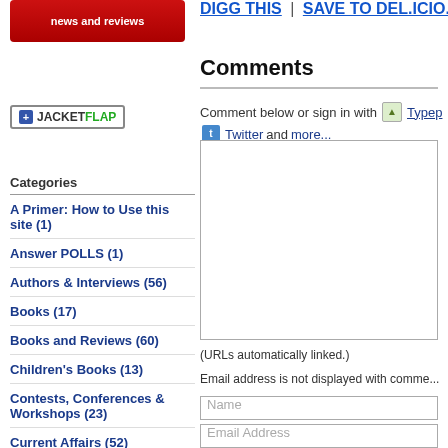[Figure (logo): Red rounded-rectangle logo with 'news and reviews' text]
[Figure (logo): JacketFlap '+' button logo with green FLAP text]
Categories
A Primer: How to Use this site (1)
Answer POLLS (1)
Authors & Interviews (56)
Books (17)
Books and Reviews (60)
Children's Books (13)
Contests, Conferences & Workshops (23)
Current Affairs (52)
E-Publishing (8)
Fiction (7)
Literary Journals (7)
Local (Houston area) events (10)
DIGG THIS | SAVE TO DEL.ICIO.US
Comments
Comment below or sign in with Typepad Twitter and more...
(URLs automatically linked.)
Email address is not displayed with comments.